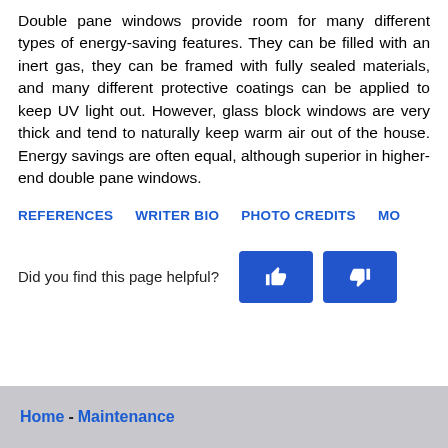Double pane windows provide room for many different types of energy-saving features. They can be filled with an inert gas, they can be framed with fully sealed materials, and many different protective coatings can be applied to keep UV light out. However, glass block windows are very thick and tend to naturally keep warm air out of the house. Energy savings are often equal, although superior in higher-end double pane windows.
REFERENCES   WRITER BIO   PHOTO CREDITS   MO...
Did you find this page helpful?
Home - Maintenance